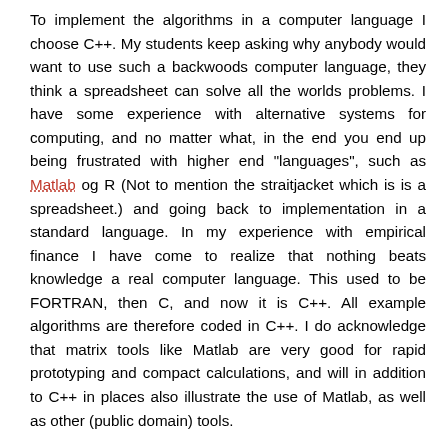To implement the algorithms in a computer language I choose C++. My students keep asking why anybody would want to use such a backwoods computer language, they think a spreadsheet can solve all the worlds problems. I have some experience with alternative systems for computing, and no matter what, in the end you end up being frustrated with higher end "languages", such as Matlab og R (Not to mention the straitjacket which is is a spreadsheet.) and going back to implementation in a standard language. In my experience with empirical finance I have come to realize that nothing beats knowledge a real computer language. This used to be FORTRAN, then C, and now it is C++. All example algorithms are therefore coded in C++. I do acknowledge that matrix tools like Matlab are very good for rapid prototyping and compact calculations, and will in addition to C++ in places also illustrate the use of Matlab, as well as other (public domain) tools.